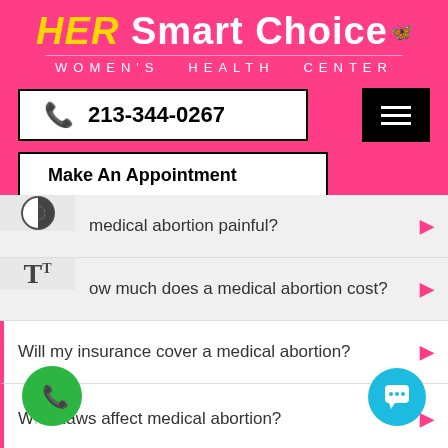[Figure (logo): HER Smart Choice Women's Health Center logo on pink background]
213-344-0267
Make An Appointment
Is a medical abortion painful?
How much does a medical abortion cost?
Will my insurance cover a medical abortion?
What laws affect medical abortion?
What is the role of anti-D in medical abortion?